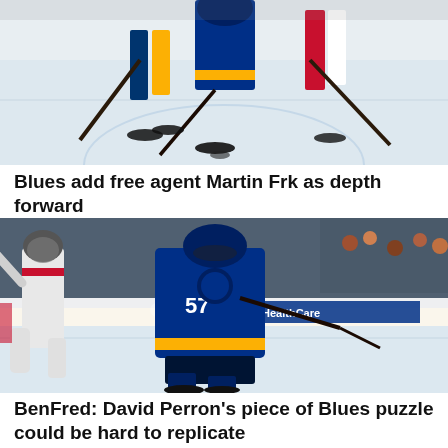[Figure (photo): Hockey players on ice during a game, showing legs and skates from a low angle perspective]
Blues add free agent Martin Frk as depth forward
[Figure (photo): St. Louis Blues player #57 skating on ice during a game against an opponent in white jersey, with crowd and PNC and BJC HealthCare arena signage visible in background]
BenFred: David Perron's piece of Blues puzzle could be hard to replicate